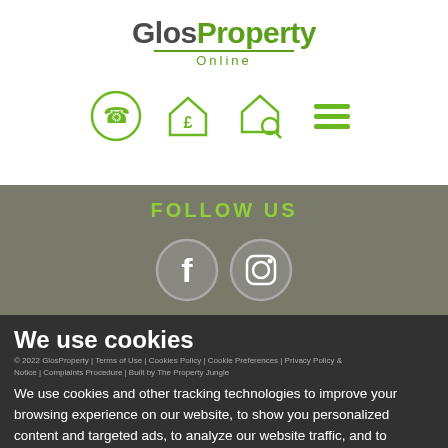[Figure (logo): GlosProperty Online logo with green and dark text, green underline, and 'Online' subtitle]
[Figure (illustration): Four navigation icons: phone in circle, house with pound sign, house with magnifier, hamburger menu — all in green outline style]
FOLLOW US
[Figure (illustration): Facebook and Instagram social media circle icons in grey/white]
We use cookies
© 2022 GlosProperty | Terms of Use | Cookies Policy | Cookie Preferences | Privacy Policy & Notice | Complaints Procedure | Built by The Property Jungle
We use cookies and other tracking technologies to improve your browsing experience on our website, to show you personalized content and targeted ads, to analyze our website traffic, and to understand where our visitors are coming from.